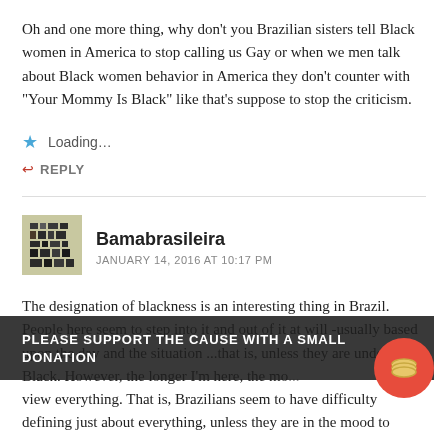Oh and one more thing, why don't you Brazilian sisters tell Black women in America to stop calling us Gay or when we men talk about Black women behavior in America they don't counter with "Your Mommy Is Black" like that's suppose to stop the criticism.
Loading…
REPLY
Bamabrasileira
JANUARY 14, 2016 AT 10:17 PM
The designation of blackness is an interesting thing in Brazil. People here seem to step into it and out of it at will -usually based upon the day and the situation ...that is, unless they are undeniably Black. However, the longer I'm here, the mo... t... view everything. That is, Brazilians seem to have difficulty defining just about everything, unless they are in the mood to
PLEASE SUPPORT THE CAUSE WITH A SMALL DONATION